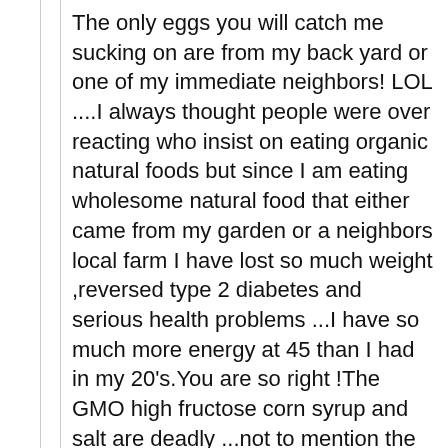The only eggs you will catch me sucking on are from my back yard or one of my immediate neighbors! LOL ....I always thought people were over reacting who insist on eating organic natural foods but since I am eating wholesome natural food that either came from my garden or a neighbors local farm I have lost so much weight ,reversed type 2 diabetes and serious health problems ...I have so much more energy at 45 than I had in my 20's.You are so right !The GMO high fructose corn syrup and salt are deadly ...not to mention the vaccines also the fluoride effected my brain after only a few short months of drinking fresh fluoride free water I noticed a huge difference...I was